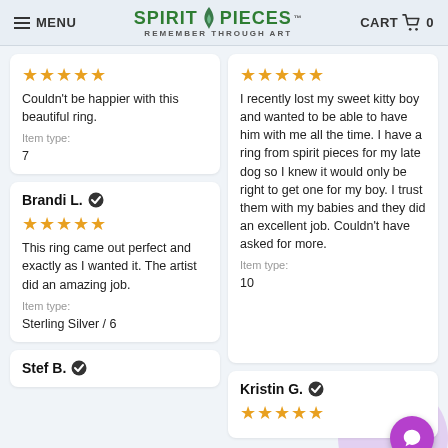MENU | SPIRIT PIECES - REMEMBER THROUGH ART | CART 0
Couldn't be happier with this beautiful ring. Item type: 7
Brandi L. ✓ This ring came out perfect and exactly as I wanted it. The artist did an amazing job. Item type: Sterling Silver / 6
Stef B. ✓
I recently lost my sweet kitty boy and wanted to be able to have him with me all the time. I have a ring from spirit pieces for my late dog so I knew it would only be right to get one for my boy. I trust them with my babies and they did an excellent job. Couldn't have asked for more. Item type: 10
Kristin G. ✓